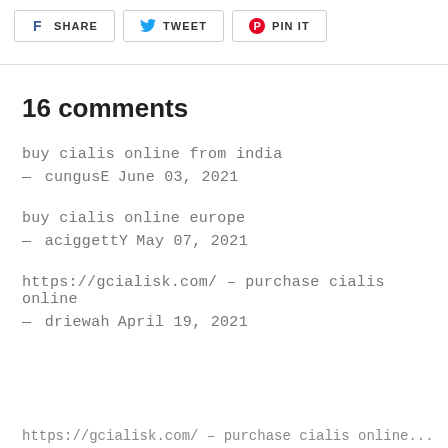[Figure (other): Social share buttons: Facebook SHARE, Twitter TWEET, Pinterest PIN IT]
16 comments
buy cialis online from india
— cungusE   June 03, 2021
buy cialis online europe
— aciggettY   May 07, 2021
https://gcialisk.com/ – purchase cialis online
— driewah   April 19, 2021
https://gcialisk.com/ – purchase cialis online...